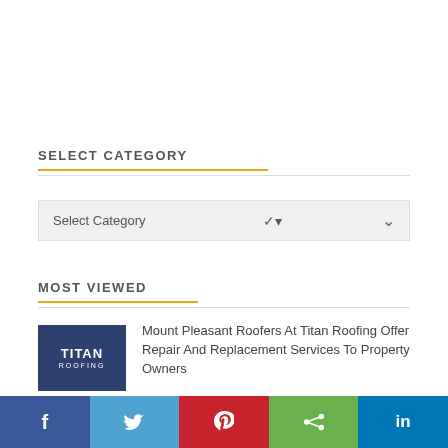SELECT CATEGORY
Select Category
MOST VIEWED
[Figure (logo): Titan Roofing company logo, dark navy blue background with white text]
Mount Pleasant Roofers At Titan Roofing Offer Repair And Replacement Services To Property Owners
994 views
[Figure (infographic): Social share bar with Facebook, Twitter, Pinterest, Share, and LinkedIn buttons]